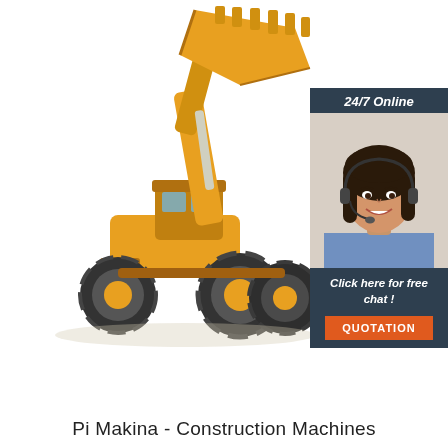[Figure (photo): Yellow wheel loader / front-end loader construction machine on white background, with raised bucket arm, four large black tires, and cab. On the right side is a customer service chat widget overlay showing a woman with a headset, header '24/7 Online', body 'Click here for free chat!', and an orange 'QUOTATION' button, all on a dark blue-grey background.]
Pi Makina - Construction Machines